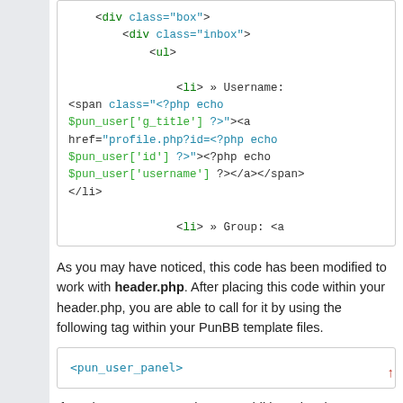[Figure (screenshot): Code block showing PHP/HTML snippet with div class='box', div class='inbox', ul, li elements and PHP echo statements for username and group]
As you may have noticed, this code has been modified to work with header.php. After placing this code within your header.php, you are able to call for it by using the following tag within your PunBB template files.
[Figure (screenshot): Code block showing <pun_user_panel>]
If you have any suggestions, or additions, just let